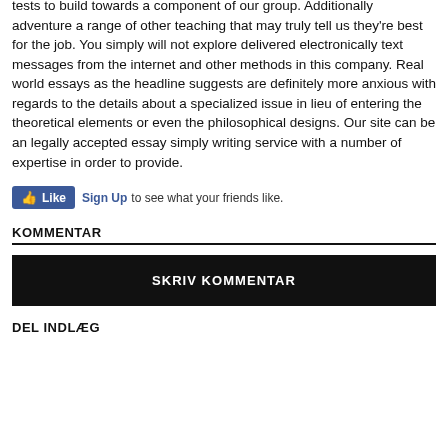tests to build towards a component of our group. Additionally adventure a range of other teaching that may truly tell us they're best for the job. You simply will not explore delivered electronically text messages from the internet and other methods in this company. Real world essays as the headline suggests are definitely more anxious with regards to the details about a specialized issue in lieu of entering the theoretical elements or even the philosophical designs. Our site can be an legally accepted essay simply writing service with a number of expertise in order to provide.
[Figure (infographic): Facebook Like widget with blue Like button and Sign Up link with text 'to see what your friends like.']
KOMMENTAR
SKRIV KOMMENTAR
DEL INDLÆG